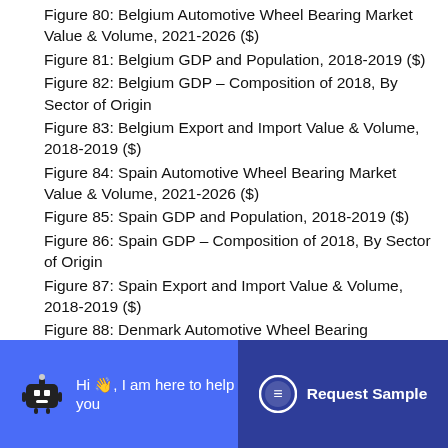Figure 80: Belgium Automotive Wheel Bearing Market Value & Volume, 2021-2026 ($)
Figure 81: Belgium GDP and Population, 2018-2019 ($)
Figure 82: Belgium GDP – Composition of 2018, By Sector of Origin
Figure 83: Belgium Export and Import Value & Volume, 2018-2019 ($)
Figure 84: Spain Automotive Wheel Bearing Market Value & Volume, 2021-2026 ($)
Figure 85: Spain GDP and Population, 2018-2019 ($)
Figure 86: Spain GDP – Composition of 2018, By Sector of Origin
Figure 87: Spain Export and Import Value & Volume, 2018-2019 ($)
Figure 88: Denmark Automotive Wheel Bearing Market Value & Volume, 2021-2026 ($)